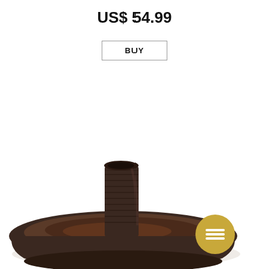US$ 54.99
BUY
[Figure (photo): A dark brown ribbed ceramic candle holder with a wide circular tray base and a cylindrical candle socket in the center, photographed on a white background. A gold circular badge with a menu icon is visible in the lower right corner of the image.]